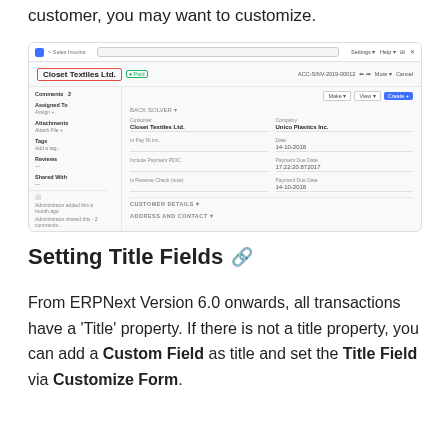customer, you may want to customize.
[Figure (screenshot): ERPNext Sales Invoice screen showing Closet Textiles Ltd. record with customer details, dates, and form fields including Company (Unico Plastics Inc.), Date (14-10-2018), Payment Due Date (17:22:20.872017), and Payment Due Date (14-10-2018). Customer name is highlighted with a red border.]
Setting Title Fields 🔗
From ERPNext Version 6.0 onwards, all transactions have a 'Title' property. If there is not a title property, you can add a Custom Field as title and set the Title Field via Customize Form.